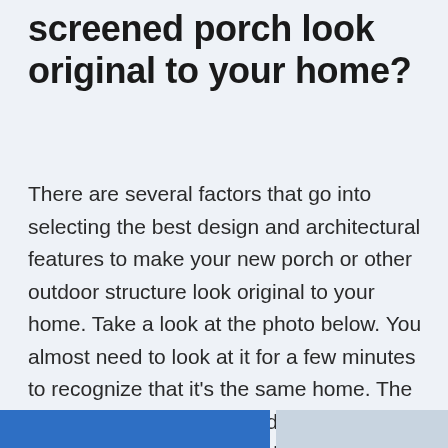screened porch look original to your home?
There are several factors that go into selecting the best design and architectural features to make your new porch or other outdoor structure look original to your home. Take a look at the photo below. You almost need to look at it for a few minutes to recognize that it's the same home. The new screened porch was designed to work with the home and to look like it's original to the home.
[Figure (photo): Bottom strip showing partial photos — left portion blue/colored image and right portion grayish image, cropped at bottom of page]